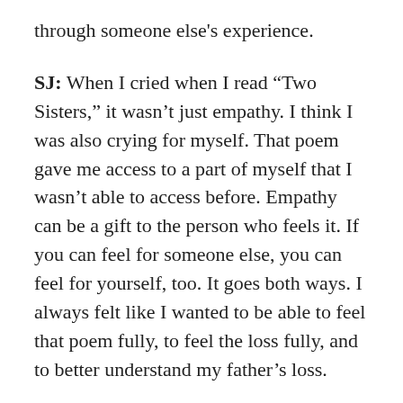through someone else's experience.
SJ: When I cried when I read “Two Sisters,” it wasn’t just empathy. I think I was also crying for myself. That poem gave me access to a part of myself that I wasn’t able to access before. Empathy can be a gift to the person who feels it. If you can feel for someone else, you can feel for yourself, too. It goes both ways. I always felt like I wanted to be able to feel that poem fully, to feel the loss fully, and to better understand my father’s loss.
I’ll interchange back and forth–sometimes I’ll say “my father,” sometimes I’ll say “the father,” or “I” and “the speaker”–I take license to switch back and forth. What I’m saying is, there’s a relationship between feeling one’s own pain and feeling the